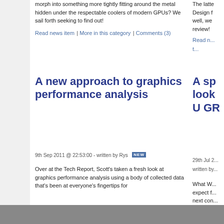morph into something more tightly fitting around the metal hidden under the respectable coolers of modern GPUs? We sail forth seeking to find out!
Read news item | More in this category | Comments (3)
A new approach to graphics performance analysis
9th Sep 2011 @ 22:53:00 - written by Rys [NEW]
Over at the Tech Report, Scott's taken a fresh look at graphics performance analysis using a body of collected data that's been at everyone's fingertips for
The latte... Design f... well, we... review!
Read n... t...
A sp... look... U GR...
29th Jul 2...
written by...
What W... expect f... next con...
Read n... this cat...
RWT... AMD... and...